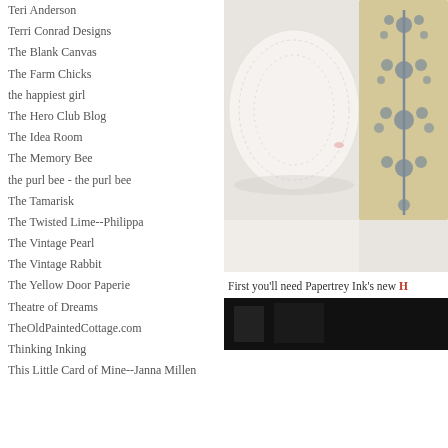Teri Anderson
Terri Conrad Designs
The Blank Canvas
The Farm Chicks
the happiest girl
The Hero Club Blog
The Idea Room
The Memory Bee
the purl bee - the purl bee
The Tamarisk
The Twisted Lime--Philippa
The Vintage Pearl
The Vintage Rabbit
The Yellow Door Paperie
Theatre of Dreams
TheOldPaintedCottage.com
Thinking Inking
This Little Card of Mine--Janna Millen
[Figure (photo): Close-up photo of a white crocheted/lace item and a tan/beige card with decorative grey floral/damask pattern printed on it, on a white surface.]
First you'll need Papertrey Ink's new H
[Figure (photo): Dark/black photo, partially visible at bottom of right column.]